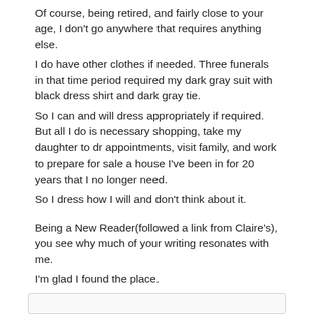Of course, being retired, and fairly close to your age, I don't go anywhere that requires anything else.
I do have other clothes if needed. Three funerals in that time period required my dark gray suit with black dress shirt and dark gray tie.
So I can and will dress appropriately if required. But all I do is necessary shopping, take my daughter to dr appointments, visit family, and work to prepare for sale a house I've been in for 20 years that I no longer need.
So I dress how I will and don't think about it.

Being a New Reader(followed a link from Claire's), you see why much of your writing resonates with me.
I'm glad I found the place.